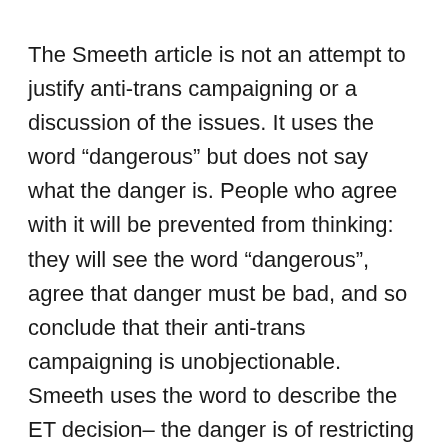The Smeeth article is not an attempt to justify anti-trans campaigning or a discussion of the issues. It uses the word “dangerous” but does not say what the danger is. People who agree with it will be prevented from thinking: they will see the word “dangerous”, agree that danger must be bad, and so conclude that their anti-trans campaigning is unobjectionable. Smeeth uses the word to describe the ET decision– the danger is of restricting speech– but also dangerous extremism, where speech should be restricted.